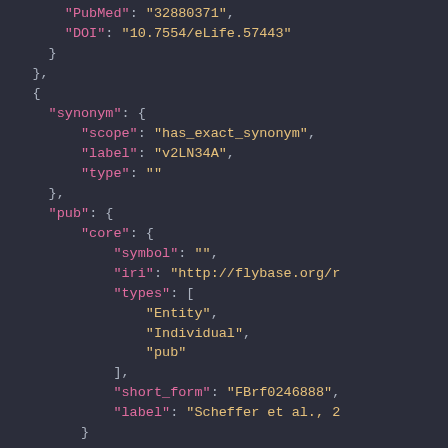[Figure (screenshot): JSON code snippet displayed in a dark-themed code editor. Shows nested JSON structure with keys like PubMed, DOI, synonym, scope, label, type, pub, core, symbol, iri, types, short_form, and label with corresponding values in yellow/gold, and keys in pink/magenta on dark navy background.]